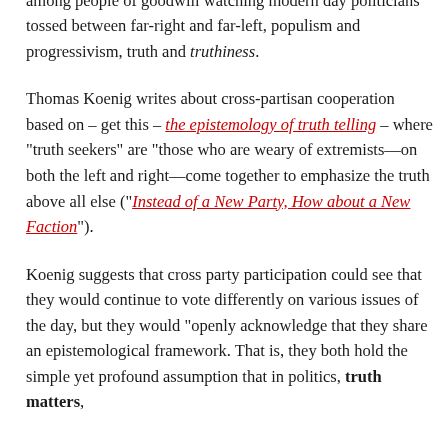their substantive worst. But there'a shift, a murmur, an unrest among people of goodwill watching modern day politicians tossed between far-right and far-left, populism and progressivism, truth and truthiness.
Thomas Koenig writes about cross-partisan cooperation based on – get this – the epistemology of truth telling – where "truth seekers" are "those who are weary of extremists—on both the left and right—come together to emphasize the truth above all else ("Instead of a New Party, How about a New Faction").
Koenig suggests that cross party participation could see that they would continue to vote differently on various issues of the day, but they would "openly acknowledge that they share an epistemological framework. That is, they both hold the simple yet profound assumption that in politics, truth matters,